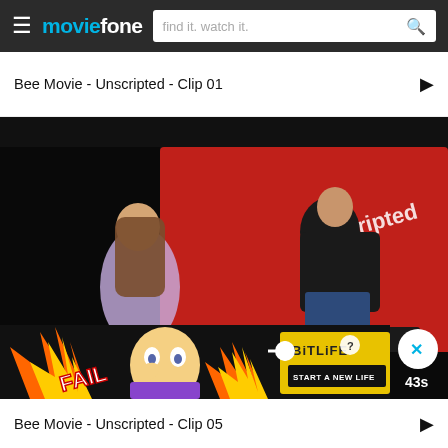moviefone — find it. watch it.
Bee Movie - Unscripted - Clip 01
[Figure (screenshot): Video thumbnail showing two people seated in a dark studio with a red background and the word 'unscripted' displayed. A young girl faces a man in a dark jacket. An ad overlay for BitLife shows at the bottom with a countdown of 43s.]
Bee Movie - Unscripted - Clip 05